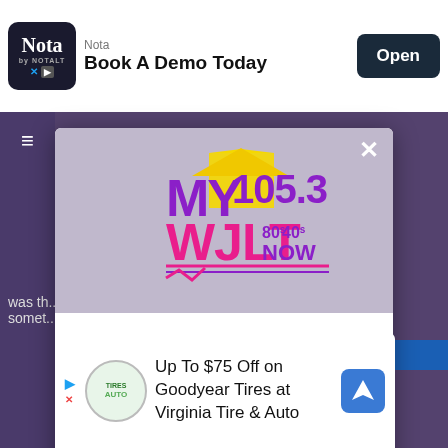[Figure (screenshot): Top advertisement banner for Nota with 'Book A Demo Today' text and Open button]
[Figure (logo): MY 105.3 WJLT radio station logo with colorful text in purple, yellow, pink colors. Tagline: 80s 90s NOW]
DOWNLOAD THE MY WJLT 105.3 MOBILE APP
GET OUR FREE MOBILE APP
Also listen on:  amazon alexa
[Figure (screenshot): Bottom advertisement banner: Up To $75 Off on Goodyear Tires at Virginia Tire & Auto]